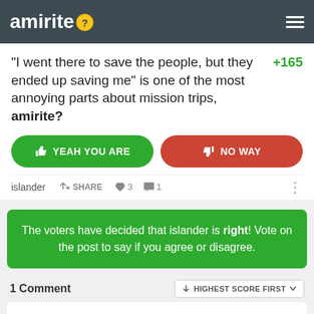amirite?
"I went there to save the people, but they ended up saving me" is one of the most annoying parts about mission trips, amirite? +165
YEAH YOU ARE | NO WAY
islander  SHARE  ♥ 3  💬 1
The voters have decided that islander is right! Vote on the post to say if you agree or disagree.
1 Comment  HIGHEST SCORE FIRST
Holy fuck man. You're firing post faster than a machine gun.